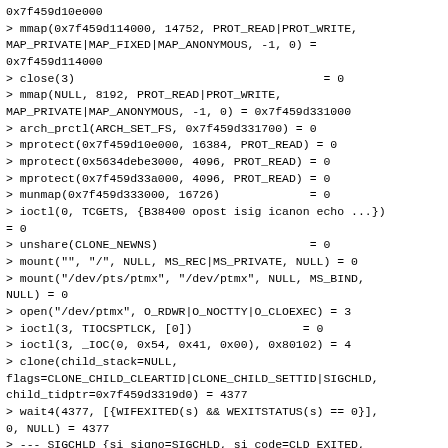0x7f459d10e000
> mmap(0x7f459d114000, 14752, PROT_READ|PROT_WRITE, MAP_PRIVATE|MAP_FIXED|MAP_ANONYMOUS, -1, 0) = 0x7f459d114000
> close(3)                                    = 0
> mmap(NULL, 8192, PROT_READ|PROT_WRITE, MAP_PRIVATE|MAP_ANONYMOUS, -1, 0) = 0x7f459d331000
> arch_prctl(ARCH_SET_FS, 0x7f459d331700) = 0
> mprotect(0x7f459d10e000, 16384, PROT_READ) = 0
> mprotect(0x5634debe3000, 4096, PROT_READ) = 0
> mprotect(0x7f459d33a000, 4096, PROT_READ) = 0
> munmap(0x7f459d333000, 16726)             = 0
> ioctl(0, TCGETS, {B38400 opost isig icanon echo ...}) = 0
> unshare(CLONE_NEWNS)                      = 0
> mount("", "/", NULL, MS_REC|MS_PRIVATE, NULL) = 0
> mount("/dev/pts/ptmx", "/dev/ptmx", NULL, MS_BIND, NULL) = 0
> open("/dev/ptmx", O_RDWR|O_NOCTTY|O_CLOEXEC) = 3
> ioctl(3, TIOCSPTLCK, [0])                = 0
> ioctl(3, _IOC(0, 0x54, 0x41, 0x00), 0x80102) = 4
> clone(child_stack=NULL, flags=CLONE_CHILD_CLEARTID|CLONE_CHILD_SETTID|SIGCHLD, child_tidptr=0x7f459d3319d0) = 4377
> wait4(4377, [{WIFEXITED(s) && WEXITSTATUS(s) == 0}], 0, NULL) = 4377
> --- SIGCHLD {si_signo=SIGCHLD, si_code=CLD_EXITED, si_pid=4377, si_uid=0, si_status=0, si_utime=0, si_stime=0} ---
> close(3)                                  = 0